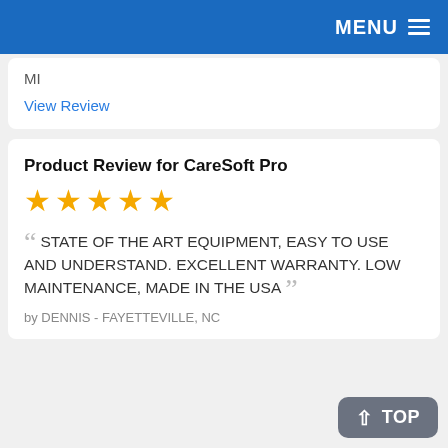MENU
MI
View Review
Product Review for CareSoft Pro
[Figure (other): 5 gold stars rating]
STATE OF THE ART EQUIPMENT, EASY TO USE AND UNDERSTAND. EXCELLENT WARRANTY. LOW MAINTENANCE, MADE IN THE USA
by DENNIS - FAYETTEVILLE, NC